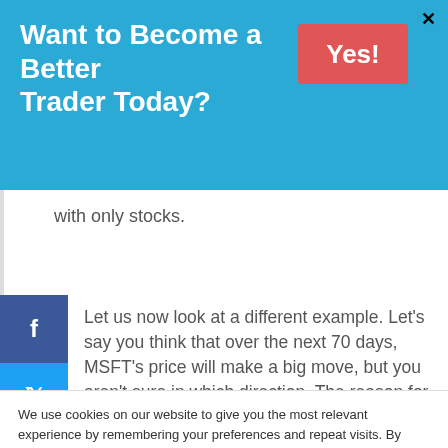Want to Become a Better Trader Today?
with only stocks.
Let us now look at a different example. Let's say you think that over the next 70 days, MSFT's price will make a big move, but you aren't sure in which direction. The reason for this move could be an
We use cookies on our website to give you the most relevant experience by remembering your preferences and repeat visits. By clicking "Accept All", you consent to the use of ALL the cookies. However, you may visit "Cookie Settings" to provide a controlled consent.